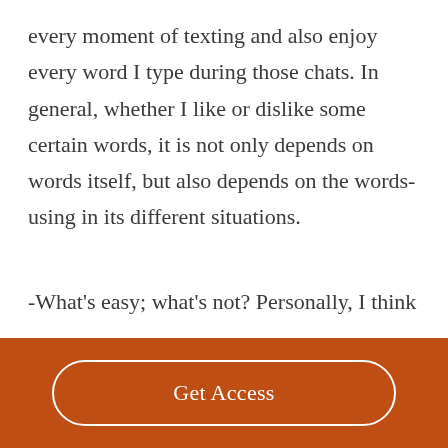every moment of texting and also enjoy every word I type during those chats. In general, whether I like or dislike some certain words, it is not only depends on words itself, but also depends on the words-using in its different situations.

-What's easy; what's not? Personally, I think
Get Access